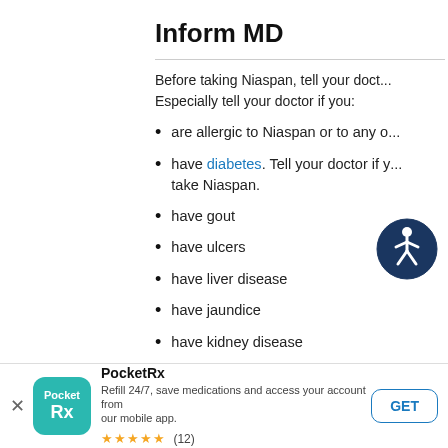Inform MD
Before taking Niaspan, tell your doctor about all of your medical conditions. Especially tell your doctor if you:
are allergic to Niaspan or to any of its ingredients
have diabetes. Tell your doctor if you change your diet or the medicines you take Niaspan.
have gout
have ulcers
have liver disease
have jaundice
have kidney disease
[Figure (illustration): Accessibility icon: a circular dark blue badge with a white wheelchair/person accessibility symbol]
PocketRx — Refill 24/7, save medications and access your account from our mobile app. ★★★★★ (12)